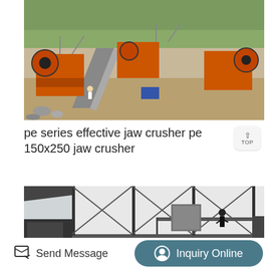[Figure (photo): Aerial view of an orange industrial jaw crusher and conveyor belt system at a quarry/construction site, with rocky terrain and trees in the background.]
pe series effective jaw crusher pe 150x250 jaw crusher
[Figure (photo): Industrial facility interior/exterior with steel frame structure, cross-braced panels, and a worker standing on a platform. Dark and grayish tones.]
Send Message
Inquiry Online